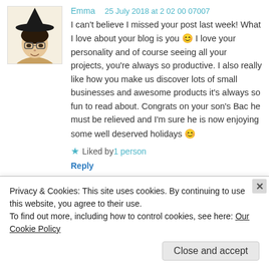[Figure (illustration): Avatar of Emma — woman wearing a black witch hat, dark hair and glasses, light background]
Emma
25 July 2018 at 2 02 00 07007
I can't believe I missed your post last week! What I love about your blog is you 😊 I love your personality and of course seeing all your projects, you're always so productive. I also really like how you make us discover lots of small businesses and awesome products it's always so fun to read about. Congrats on your son's Bac he must be relieved and I'm sure he is now enjoying some well deserved holidays 😊
★ Liked by 1 person
Reply
[Figure (illustration): Avatar of Evelyne — pixel/block style building icon in olive green on dark green background]
Evelyne
28 July 2018 at 7 07 49 07497
Privacy & Cookies: This site uses cookies. By continuing to use this website, you agree to their use.
To find out more, including how to control cookies, see here: Our Cookie Policy
Close and accept